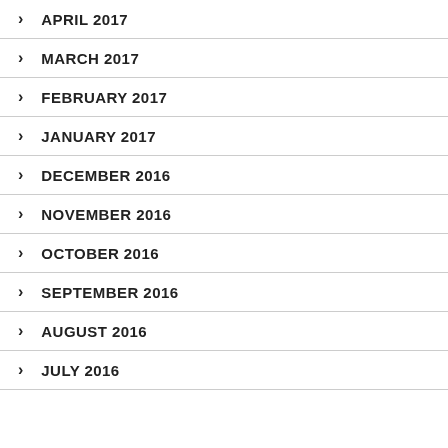APRIL 2017
MARCH 2017
FEBRUARY 2017
JANUARY 2017
DECEMBER 2016
NOVEMBER 2016
OCTOBER 2016
SEPTEMBER 2016
AUGUST 2016
JULY 2016